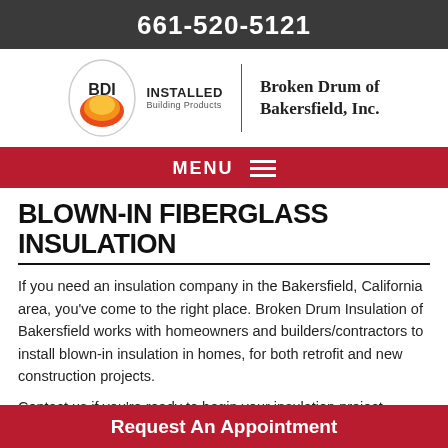661-520-5121
[Figure (logo): BDI Installed Building Products logo with oval graphic and text, alongside 'Broken Drum of Bakersfield, Inc.' company name]
MENU
BLOWN-IN FIBERGLASS INSULATION
If you need an insulation company in the Bakersfield, California area, you've come to the right place. Broken Drum Insulation of Bakersfield works with homeowners and builders/contractors to install blown-in insulation in homes, for both retrofit and new construction projects.
Contact us if you're ready to begin your insulation project
Request An Appointment